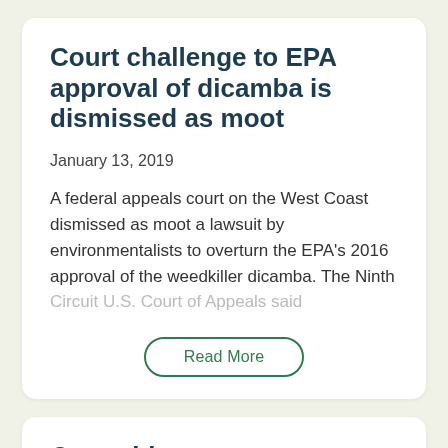Court challenge to EPA approval of dicamba is dismissed as moot
January 13, 2019
A federal appeals court on the West Coast dismissed as moot a lawsuit by environmentalists to overturn the EPA's 2016 approval of the weedkiller dicamba. The Ninth Circuit U.S. Court of Appeals said
Read More
Opposition mounts as